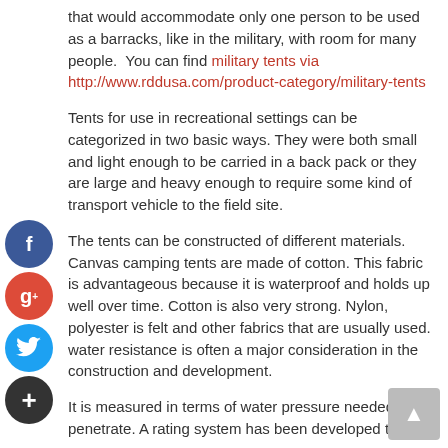that would accommodate only one person to be used as a barracks, like in the military, with room for many people.  You can find military tents via http://www.rddusa.com/product-category/military-tents
Tents for use in recreational settings can be categorized in two basic ways. They were both small and light enough to be carried in a back pack or they are large and heavy enough to require some kind of transport vehicle to the field site.
The tents can be constructed of different materials. Canvas camping tents are made of cotton. This fabric is advantageous because it is waterproof and holds up well over time. Cotton is also very strong. Nylon, polyester is felt and other fabrics that are usually used. water resistance is often a major consideration in the construction and development.
It is measured in terms of water pressure needed to penetrate. A rating system has been developed to help